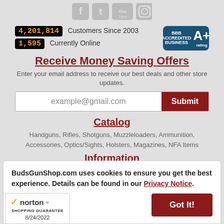[Figure (other): Social media icons: Facebook, Twitter, YouTube, Instagram]
4,201,814 Customers Since 2003
1,595 Currently Online
[Figure (other): BBB A+ rating badge]
Receive Money Saving Offers
Enter your email address to receive our best deals and other store updates.
Catalog
Handguns, Rifles, Shotguns, Muzzleloaders, Ammunition, Accessories, Optics/Sights, Holsters, Magazines, NFA Items
Information
FAQ, The Shooting Bench Blog, How to Buy a Gun Online, How
BudsGunShop.com uses cookies to ensure you get the best experience. Details can be found in our Privacy Notice.
[Figure (other): Norton Shopping Guarantee badge dated 8/24/2022]